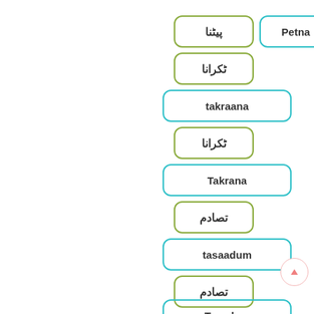پیٹنا
Petna
ٹکرانا
takraana
ٹکرانا
Takrana
تصادم
tasaadum
تصادم
Tasadum